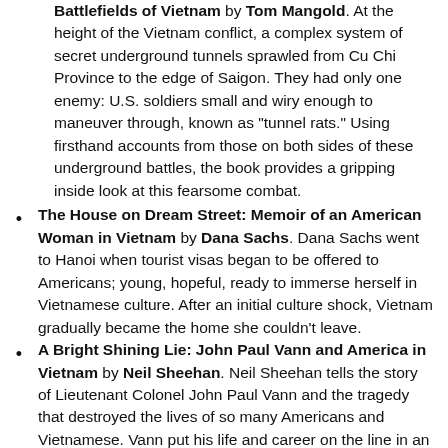Battlefields of Vietnam by Tom Mangold. At the height of the Vietnam conflict, a complex system of secret underground tunnels sprawled from Cu Chi Province to the edge of Saigon. They had only one enemy: U.S. soldiers small and wiry enough to maneuver through, known as "tunnel rats." Using firsthand accounts from those on both sides of these underground battles, the book provides a gripping inside look at this fearsome combat.
The House on Dream Street: Memoir of an American Woman in Vietnam by Dana Sachs. Dana Sachs went to Hanoi when tourist visas began to be offered to Americans; young, hopeful, ready to immerse herself in Vietnamese culture. After an initial culture shock, Vietnam gradually became the home she couldn't leave.
A Bright Shining Lie: John Paul Vann and America in Vietnam by Neil Sheehan. Neil Sheehan tells the story of Lieutenant Colonel John Paul Vann and the tragedy that destroyed the lives of so many Americans and Vietnamese. Vann put his life and career on the line in an attempt to convince his superiors that the